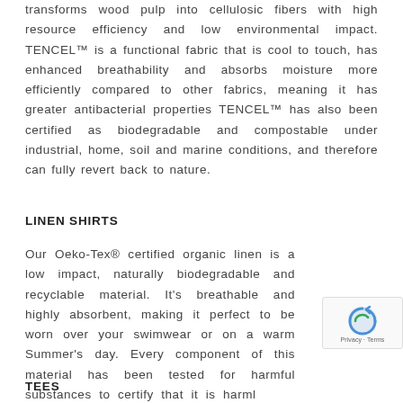transforms wood pulp into cellulosic fibers with high resource efficiency and low environmental impact. TENCEL™ is a functional fabric that is cool to touch, has enhanced breathability and absorbs moisture more efficiently compared to other fabrics, meaning it has greater antibacterial properties TENCEL™ has also been certified as biodegradable and compostable under industrial, home, soil and marine conditions, and therefore can fully revert back to nature.
LINEN SHIRTS
Our Oeko-Tex® certified organic linen is a low impact, naturally biodegradable and recyclable material. It's breathable and highly absorbent, making it perfect to be worn over your swimwear or on a warm Summer's day. Every component of this material has been tested for harmful substances to certify that it is harmless to human health.
TEES